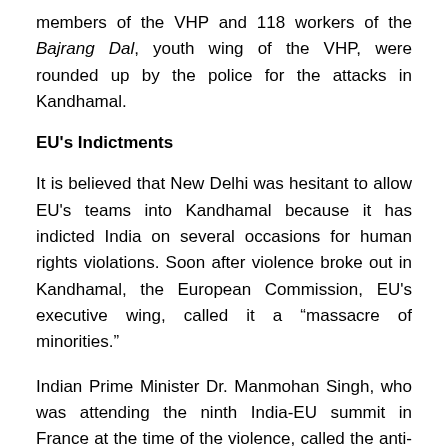members of the VHP and 118 workers of the Bajrang Dal, youth wing of the VHP, were rounded up by the police for the attacks in Kandhamal.
EU's Indictments
It is believed that New Delhi was hesitant to allow EU's teams into Kandhamal because it has indicted India on several occasions for human rights violations. Soon after violence broke out in Kandhamal, the European Commission, EU's executive wing, called it a “massacre of minorities.”
Indian Prime Minister Dr. Manmohan Singh, who was attending the ninth India-EU summit in France at the time of the violence, called the anti-Christian attacks a “national shame.” French President Nicolas Sarkozy, head of the European Council and Jose Manuel Barroso, president of